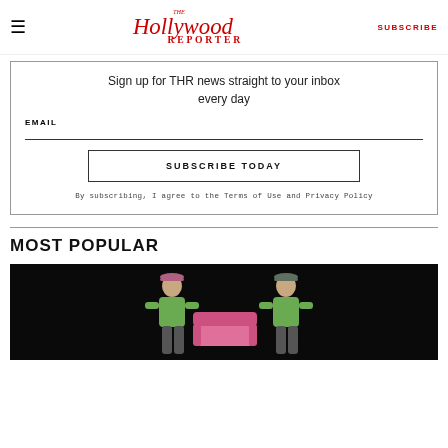The Hollywood Reporter — SUBSCRIBE
Sign up for THR news straight to your inbox every day
EMAIL
SUBSCRIBE TODAY
By subscribing, I agree to the Terms of Use and Privacy Policy
MOST POPULAR
[Figure (photo): Two people in green shirts and baseball caps carrying a pink sofa against a dark background]